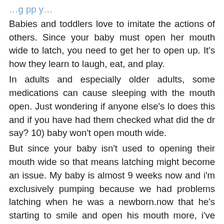Babies and toddlers love to imitate the actions of others. Since your baby must open her mouth wide to latch, you need to get her to open up. It's how they learn to laugh, eat, and play.
In adults and especially older adults, some medications can cause sleeping with the mouth open. Just wondering if anyone else's lo does this and if you have had them checked what did the dr say? 10) baby won't open mouth wide.
But since your baby isn't used to opening their mouth wide so that means latching might become an issue. My baby is almost 9 weeks now and i'm exclusively pumping because we had problems latching when he was a newborn.now that he's starting to smile and open his mouth more, i've noticed that he may have a lip tie??looking back now, i wonder if. Blue lips (cyanosis) "if your baby's